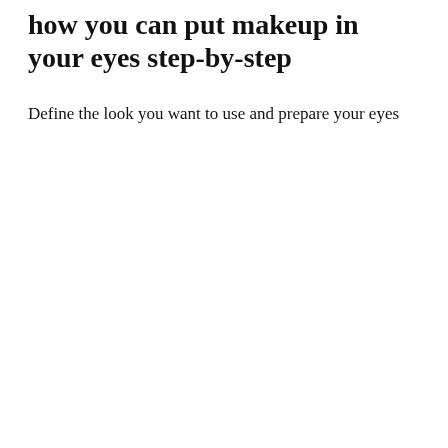how you can put makeup in your eyes step-by-step
Define the look you want to use and prepare your eyes